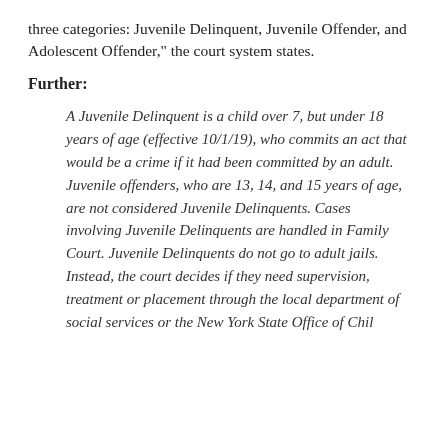three categories: Juvenile Delinquent, Juvenile Offender, and Adolescent Offender," the court system states.
Further:
A Juvenile Delinquent is a child over 7, but under 18 years of age (effective 10/1/19), who commits an act that would be a crime if it had been committed by an adult. Juvenile offenders, who are 13, 14, and 15 years of age, are not considered Juvenile Delinquents. Cases involving Juvenile Delinquents are handled in Family Court. Juvenile Delinquents do not go to adult jails. Instead, the court decides if they need supervision, treatment or placement through the local department of social services or the New York State Office of Children and...